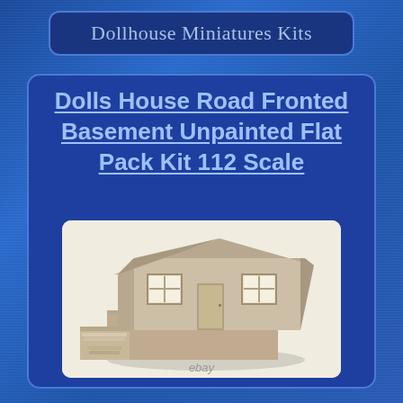Dollhouse Miniatures Kits
Dolls House Road Fronted Basement Unpainted Flat Pack Kit 112 Scale
[Figure (photo): Photo of an unpainted beige/tan miniature dollhouse flat pack kit showing a two-storey road-fronted house with basement section, windows, door, and staircase steps, displayed on white background with 'ebay' watermark at bottom]